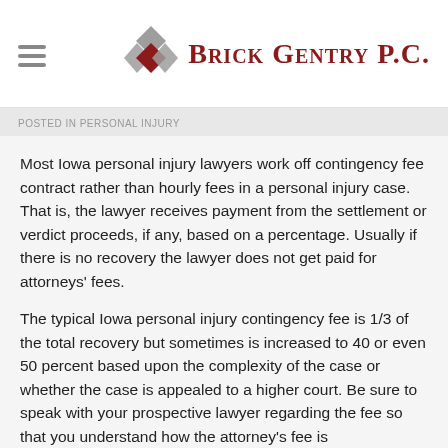Brick Gentry P.C.
POSTED IN PERSONAL INJURY
Most Iowa personal injury lawyers work off contingency fee contract rather than hourly fees in a personal injury case. That is, the lawyer receives payment from the settlement or verdict proceeds, if any, based on a percentage. Usually if there is no recovery the lawyer does not get paid for attorneys' fees.
The typical Iowa personal injury contingency fee is 1/3 of the total recovery but sometimes is increased to 40 or even 50 percent based upon the complexity of the case or whether the case is appealed to a higher court. Be sure to speak with your prospective lawyer regarding the fee so that you understand how the attorney's fee is